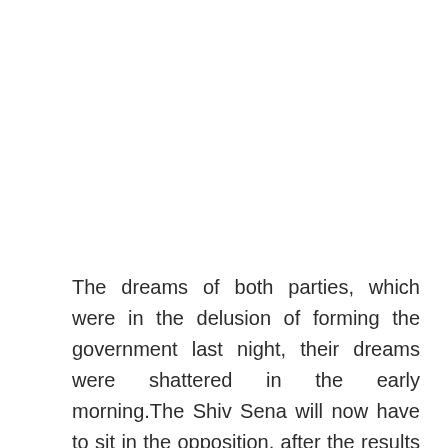The dreams of both parties, which were in the delusion of forming the government last night, their dreams were shattered in the early morning.The Shiv Sena will now have to sit in the opposition, after the results of the elections, Shiv Sena MP Sanjay Raut, who satirized BJP by constantly tweeting shayaris, is being trolled on